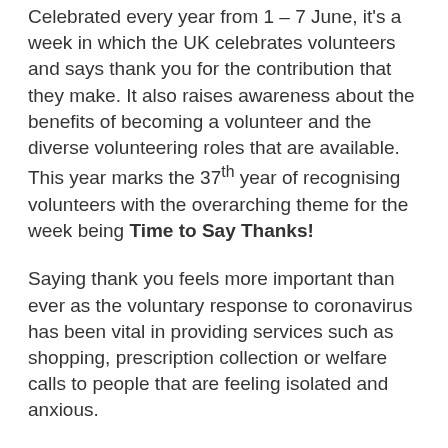Celebrated every year from 1 – 7 June, it's a week in which the UK celebrates volunteers and says thank you for the contribution that they make. It also raises awareness about the benefits of becoming a volunteer and the diverse volunteering roles that are available.  This year marks the 37th year of recognising volunteers with the overarching theme for the week being Time to Say Thanks!
Saying thank you feels more important than ever as the voluntary response to coronavirus has been vital in providing services such as shopping, prescription collection or welfare calls to people that are feeling isolated and anxious.
In Bridgend County, we had over 1,500 people register as volunteers! We have truly been